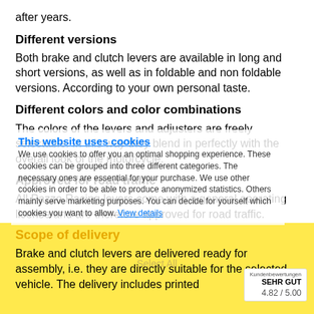after years.
Different versions
Both brake and clutch levers are available in long and short versions, as well as in foldable and non foldable versions. According to your own personal taste.
Different colors and color combinations
The colors of the levers and adjusters are freely selectable. In this way they blend in perfectly with the overall look of the motorcycle.
Approved for road traffic
All Pazzo Racing levers come with a general operating license and are therefore approved for road traffic.
Scope of delivery
Brake and clutch levers are delivered ready for assembly, i.e. they are directly suitable for the selected vehicle. The delivery includes printed